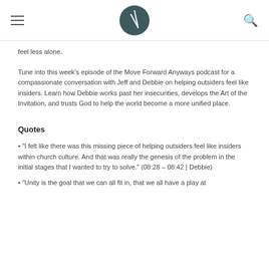[ navigation menu icon ] [ logo ] [ search icon ]
feel less alone.
Tune into this week's episode of the Move Forward Anyways podcast for a compassionate conversation with Jeff and Debbie on helping outsiders feel like insiders. Learn how Debbie works past her insecurities, develops the Art of the Invitation, and trusts God to help the world become a more unified place.
Quotes
• "I felt like there was this missing piece of helping outsiders feel like insiders within church culture. And that was really the genesis of the problem in the initial stages that I wanted to try to solve." (08:28 – 08:42 | Debbie)
• "Unity is the goal that we can all fit in, that we all have a play at